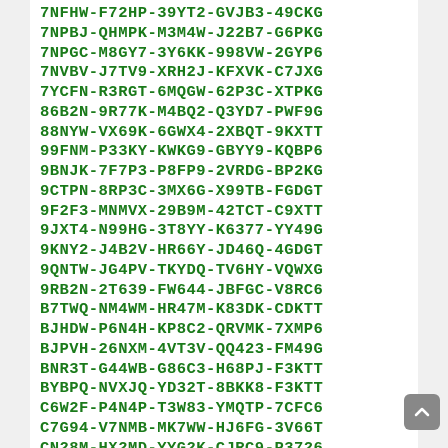7NFHW-F72HP-39YT2-GVJB3-49CKG
7NPBJ-QHMPK-M3M4W-J22B7-G6PKG
7NPGC-M8GY7-3Y6KK-998VW-2GYP6
7NVBV-J7TV9-XRH2J-KFXVK-C7JXG
7YCFN-R3RGT-6MQGW-62P3C-XTPKG
86B2N-9R77K-M4BQ2-Q3YD7-PWF9G
88NYW-VX69K-6GWX4-2XBQT-9KXTT
99FNM-P33KY-KWKG9-GBYY9-KQBP6
9BNJK-7F7P3-P8FP9-2VRDG-BP2KG
9CTPN-8RP3C-3MX6G-X99TB-FGDGT
9F2F3-MNMVX-29B9M-42TCT-C9XTT
9JXT4-N99HG-3T8YY-K6377-YY49G
9KNY2-J4B2V-HR66Y-JD46Q-4GDGT
9QNTW-JG4PV-TKYDQ-TV6HY-VQWXG
9RB2N-2T639-FW644-JBFGC-V8RC6
B7TWQ-NM4WM-HR47M-K83DK-CDKTT
BJHDW-P6N4H-KP8C2-QRVMK-7XMP6
BJPVH-26NXM-4VT3V-QQ423-FM49G
BNR3T-G44WB-G86C3-H68PJ-F3KTT
BYBPQ-NVXJQ-YD32T-8BKK8-F3KTT
C6W2F-P4N4P-T3W83-YMQTP-7CFC6
C7G94-V7NMB-MK7WW-HJ6FG-3V66T
CN28M-HX2MD-YYG2K-CJRC9-P3726